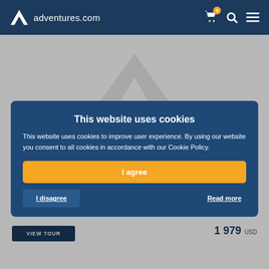adventures.com
[Figure (logo): adventures.com watermark logo — large grey triangle-A logo and text]
WILDERNESS LODGES TOUR
FISH, CANOE, AND EXPERIENCE THE OUTDOORS FROM THIS WILDERNESS LODGE
YELLOWKNIFE, NT
Enjoy a variety of outdoor pursuits at this wilderness fly-in lodge in the Northwest Territories
1 979 USD
VIEW TOUR
This website uses cookies
This website uses cookies to improve user experience. By using our website you consent to all cookies in accordance with our Cookie Policy.
I agree
I disagree
Read more